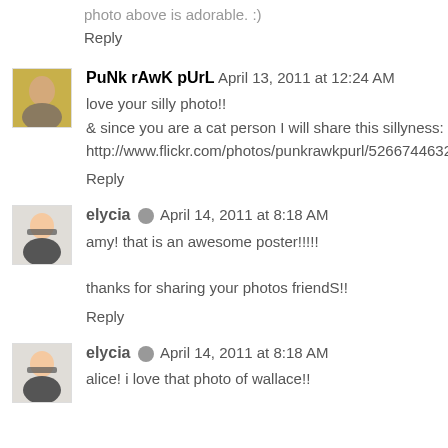photo above is adorable. :)
Reply
PuNk rAwK pUrL  April 13, 2011 at 12:24 AM
love your silly photo!!
& since you are a cat person I will share this sillyness:
http://www.flickr.com/photos/punkrawkpurl/5266744632/
Reply
elycia  April 14, 2011 at 8:18 AM
amy! that is an awesome poster!!!!!

thanks for sharing your photos friendS!!
Reply
elycia  April 14, 2011 at 8:18 AM
alice! i love that photo of wallace!!